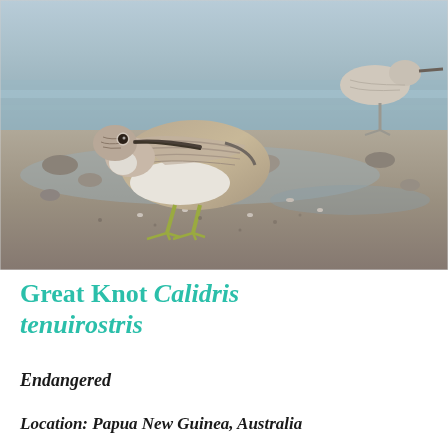[Figure (photo): A Great Knot shorebird (Calidris tenuirostris) standing on mudflats with shells and wet mud, showing brown and white plumage with a long bill and yellowish-green legs. A second bird is visible in the background.]
Great Knot Calidris tenuirostris
Endangered
Location: Papua New Guinea, Australia